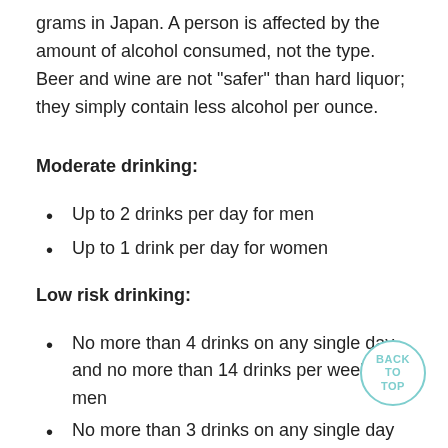grams in Japan. A person is affected by the amount of alcohol consumed, not the type. Beer and wine are not "safer" than hard liquor; they simply contain less alcohol per ounce.
Moderate drinking:
Up to 2 drinks per day for men
Up to 1 drink per day for women
Low risk drinking:
No more than 4 drinks on any single day and no more than 14 drinks per week for men
No more than 3 drinks on any single day and more than 7 drinks per week for women